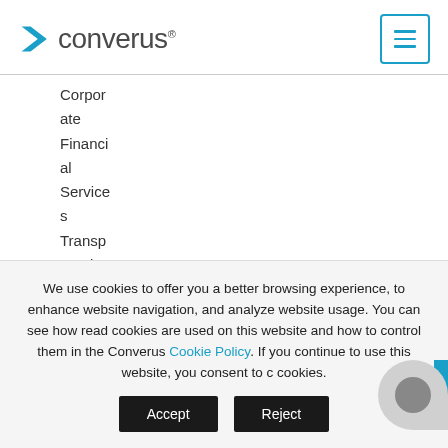[Figure (logo): Converus logo with blue arrow chevron and grey text, plus hamburger menu button with blue border]
Corporate Financial Services
Transportation
Urinalysis
Safe Social
We use cookies to offer you a better browsing experience, to enhance website navigation, and analyze website usage. You can see how read cookies are used on this website and how to control them in the Converus Cookie Policy. If you continue to use this website, you consent to our cookies.